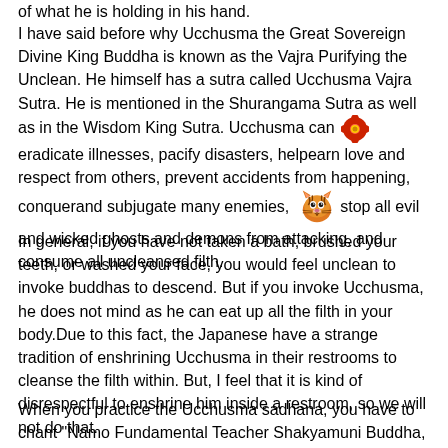of what he is holding in his hand.
I have said before why Ucchusma the Great Sovereign Divine King Buddha is known as the Vajra Purifying the Unclean. He himself has a sutra called Ucchusma Vajra Sutra. He is mentioned in the Shurangama Sutra as well as in the Wisdom King Sutra. Ucchusma can eradicate illnesses, pacify disasters, helpearn love and respect from others, prevent accidents from happening, conquerand subjugate many enemies, stop all evil and wicked ghosts and demons from attacking, and consume all uncleansed filth.
In general, if you have not taken a bath, brushed your teeth, or washed your face, you would feel unclean to invoke buddhas to descend. But if you invoke Ucchusma, he does not mind as he can eat up all the filth in your body.Due to this fact, the Japanese have a strange tradition of enshrining Ucchusma in their restrooms to cleanse the filth within. But, I feel that it is kind of disrespectful to enshrine him inside a restroom, so we will not do that.
When you practice the Ucchusma sadhana, you have to chant "Namo Fundamental Teacher Shakyamuni Buddha, Namo Manifestation Body Shakyamuni